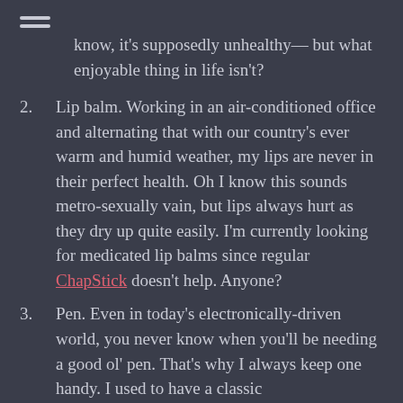know, it's supposedly unhealthy— but what enjoyable thing in life isn't?
2. Lip balm. Working in an air-conditioned office and alternating that with our country's ever warm and humid weather, my lips are never in their perfect health. Oh I know this sounds metro-sexually vain, but lips always hurt as they dry up quite easily. I'm currently looking for medicated lip balms since regular ChapStick doesn't help. Anyone?
3. Pen. Even in today's electronically-driven world, you never know when you'll be needing a good ol' pen. That's why I always keep one handy. I used to have a classic